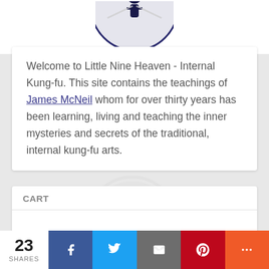[Figure (logo): Circular logo at the top of the page (partially visible), appears to be the Little Nine Heaven Internal Kung-fu logo with a figure/silhouette.]
Welcome to Little Nine Heaven - Internal Kung-fu. This site contains the teachings of James McNeil whom for over thirty years has been learning, living and teaching the inner mysteries and secrets of the traditional, internal kung-fu arts.
CART
SUBSCRIBE TO THE L9H NEWSLETTER!
[Figure (other): Dark red/maroon button for newsletter subscription]
23 SHARES